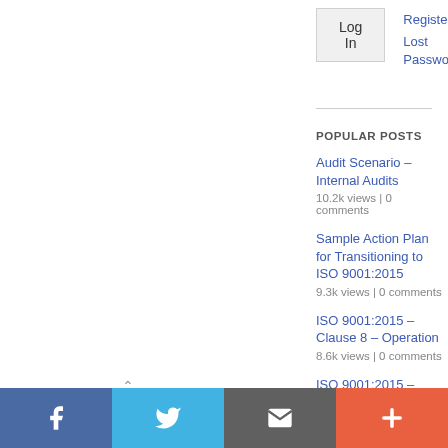Log In
Register
Lost Password
POPULAR POSTS
Audit Scenario – Internal Audits
10.2k views | 0 comments
Sample Action Plan for Transitioning to ISO 9001:2015
9.3k views | 0 comments
ISO 9001:2015 – Clause 8 – Operation
8.6k views | 0 comments
ISO 9001:2015 – Clause 4 – Context of the Organization
[Figure (infographic): Social sharing bar with Facebook, Twitter, Email, and plus buttons]